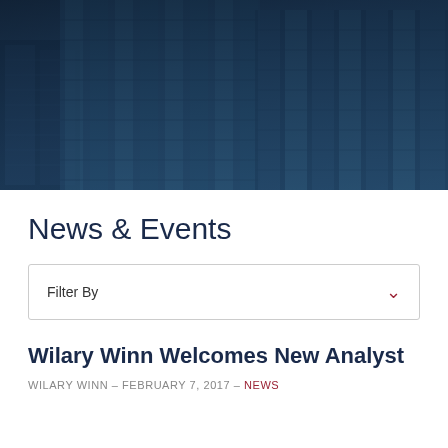[Figure (photo): Upward angled view of modern glass skyscrapers with blue-tinted overlay]
News & Events
Filter By
Wilary Winn Welcomes New Analyst
WILARY WINN – FEBRUARY 7, 2017 – News